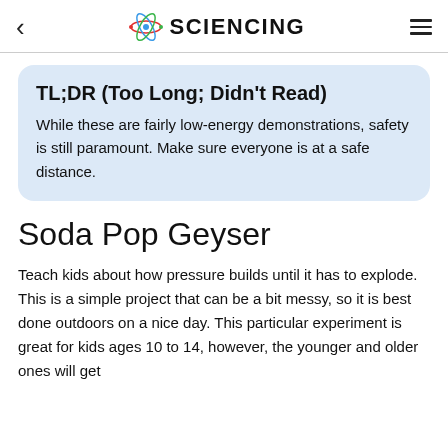< SCIENCING ≡
TL;DR (Too Long; Didn't Read)
While these are fairly low-energy demonstrations, safety is still paramount. Make sure everyone is at a safe distance.
Soda Pop Geyser
Teach kids about how pressure builds until it has to explode. This is a simple project that can be a bit messy, so it is best done outdoors on a nice day. This particular experiment is great for kids ages 10 to 14, however, the younger and older ones will get